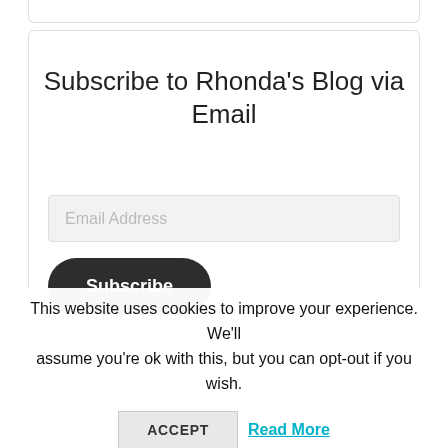Subscribe to Rhonda's Blog via Email
Email Address
Subscribe
This website uses cookies to improve your experience. We'll assume you're ok with this, but you can opt-out if you wish.
ACCEPT
Read More